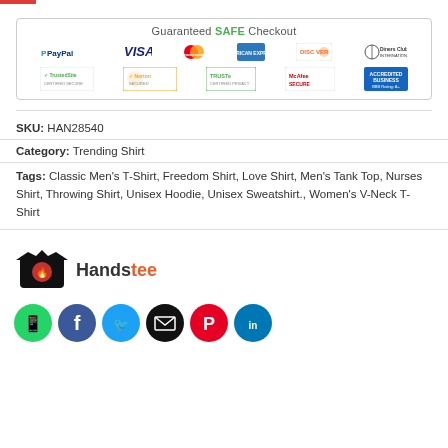[Figure (infographic): Guaranteed SAFE Checkout box with payment logos (PayPal, Visa, Mastercard, AmericanExpress, Discover, Diners Club International) and security badges (TrustedSite, Norton Secured, TRUSTe, McAfee Secure, BBB Accredited Business)]
SKU: HAN28540
Category: Trending Shirt
Tags: Classic Men's T-Shirt, Freedom Shirt, Love Shirt, Men's Tank Top, Nurses Shirt, Throwing Shirt, Unisex Hoodie, Unisex Sweatshirt., Women's V-Neck T-Shirt
[Figure (logo): Handstee brand logo with t-shirt icon and text Handstee]
[Figure (infographic): Social media share icons: WhatsApp (green), Facebook (dark blue), Twitter (blue), Email (black), Pinterest (red), LinkedIn (blue)]